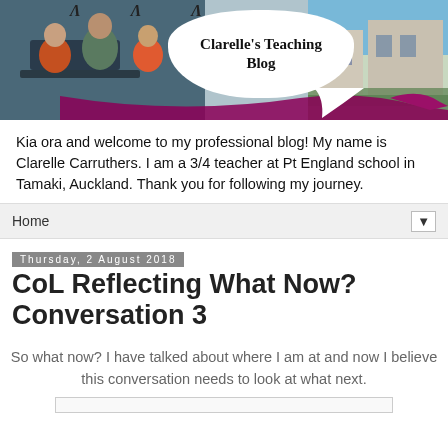[Figure (photo): Blog banner with photo of teacher and two students at a laptop on the left, a speech bubble with 'Clarelle's Teaching Blog' in the center-right, a purple ribbon/curve at the bottom, and a school building photo on the right. Navigation arrows visible at the top.]
Kia ora and welcome to my professional blog! My name is Clarelle Carruthers. I am a 3/4 teacher at Pt England school in Tamaki, Auckland. Thank you for following my journey.
Home
Thursday, 2 August 2018
CoL Reflecting What Now? Conversation 3
So what now? I have talked about where I am at and now I believe this conversation needs to look at what next.